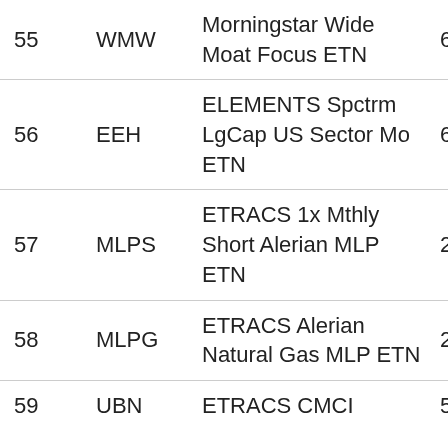| # | Ticker | Name | Value |
| --- | --- | --- | --- |
| 55 | WMW | Morningstar Wide Moat Focus ETN | 60 |
| 56 | EEH | ELEMENTS Spctrm LgCap US Sector Mo ETN | 62 |
| 57 | MLPS | ETRACS 1x Mthly Short Alerian MLP ETN | 24 |
| 58 | MLPG | ETRACS Alerian Natural Gas MLP ETN | 27 |
| 59 | UBN | ETRACS CMCI | 54 |